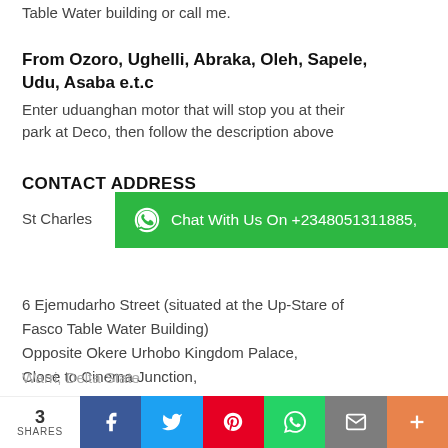Table Water building or call me.
From Ozoro, Ughelli, Abraka, Oleh, Sapele, Udu, Asaba e.t.c
Enter uduanghan motor that will stop you at their park at Deco, then follow the description above
CONTACT ADDRESS
St Charles
[Figure (infographic): Green WhatsApp banner: Chat With Us On +2348051311885,]
6 Ejemudarho Street (situated at the Up-Stare of Fasco Table Water Building)
Opposite Okere Urhobo Kingdom Palace,
Close to Cinema Junction,
Warri, Delta State
3 SHARES | Facebook | Twitter | Pinterest | WhatsApp | Email | More